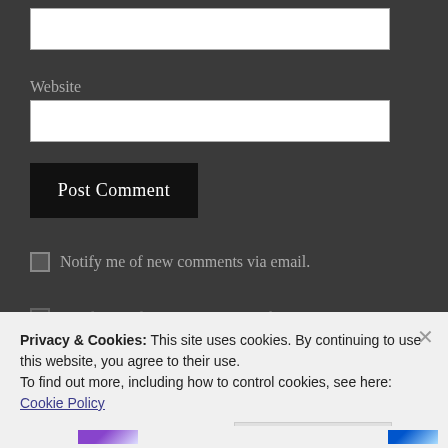[input field - top]
Website
[input field - website]
Post Comment
Notify me of new comments via email.
Notify me of new posts via email.
Privacy & Cookies: This site uses cookies. By continuing to use this website, you agree to their use.
To find out more, including how to control cookies, see here: Cookie Policy
Close and accept